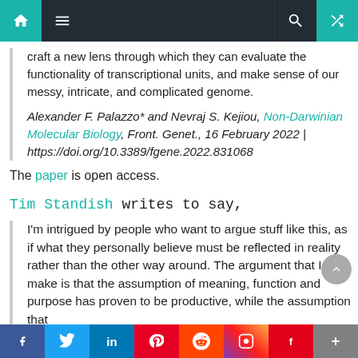Navigation bar with home, menu, search, and shuffle icons
craft a new lens through which they can evaluate the functionality of transcriptional units, and make sense of our messy, intricate, and complicated genome.
Alexander F. Palazzo* and Nevraj S. Kejiou, Non-Darwinian Molecular Biology, Front. Genet., 16 February 2022 | https://doi.org/10.3389/fgene.2022.831068
The paper is open access.
Tim Standish writes to say,
I'm intrigued by people who want to argue stuff like this, as if what they personally believe must be reflected in reality rather than the other way around. The argument that I make is that the assumption of meaning, function and purpose has proven to be productive, while the assumption that
Social share bar: Facebook, Twitter, LinkedIn, Pinterest, Reddit, Instagram, Flipboard, More